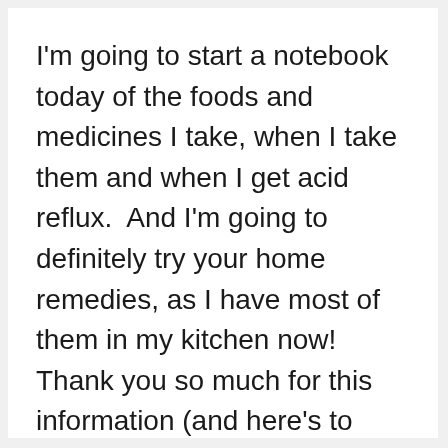I'm going to start a notebook today of the foods and medicines I take, when I take them and when I get acid reflux.  And I'm going to definitely try your home remedies, as I have most of them in my kitchen now! Thank you so much for this information (and here's to tossing my prescription medication)!